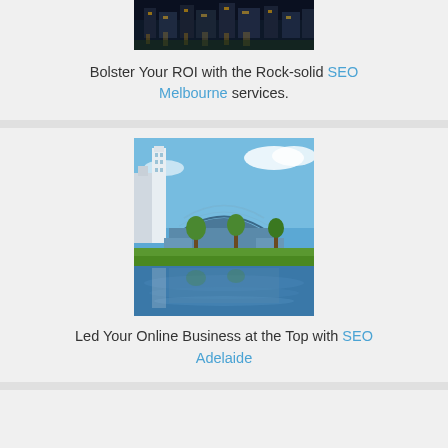[Figure (photo): Partial night cityscape photo at top of page, showing city buildings with lights reflected on water]
Bolster Your ROI with the Rock-solid SEO Melbourne services.
[Figure (photo): Daytime photo of Adelaide cityscape with modern curved building, green lawn and river reflection in foreground]
Led Your Online Business at the Top with SEO Adelaide